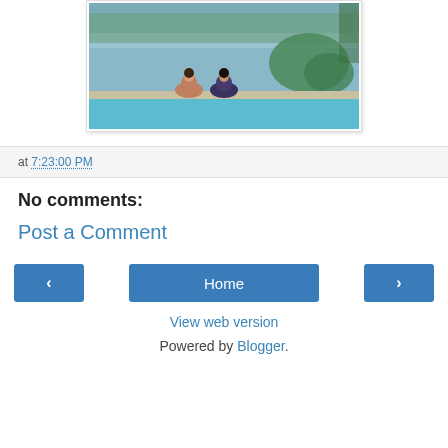[Figure (photo): Two people seen from behind standing in an infinity pool overlooking a lake or bay with tropical trees and greenery in the background.]
at 7:23:00 PM
No comments:
Post a Comment
Home
View web version
Powered by Blogger.